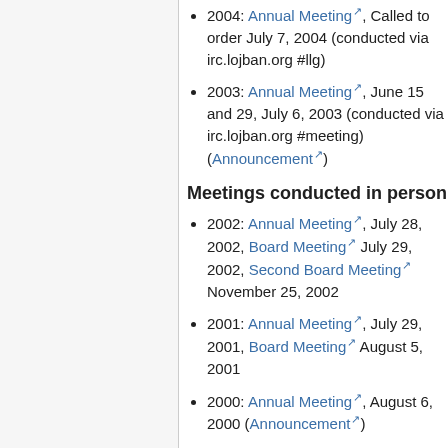2004: Annual Meeting, Called to order July 7, 2004 (conducted via irc.lojban.org #llg)
2003: Annual Meeting, June 15 and 29, July 6, 2003 (conducted via irc.lojban.org #meeting) (Announcement)
Meetings conducted in person
2002: Annual Meeting, July 28, 2002, Board Meeting July 29, 2002, Second Board Meeting November 25, 2002
2001: Annual Meeting, July 29, 2001, Board Meeting August 5, 2001
2000: Annual Meeting, August 6, 2000 (Announcement)
1999: Annual Meeting, July 18, 1999